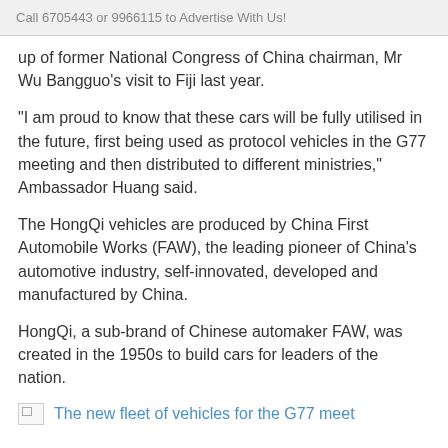Call 6705443 or 9966115 to Advertise With Us!
up of former National Congress of China chairman, Mr Wu Bangguo’s visit to Fiji last year.
“I am proud to know that these cars will be fully utilised in the future, first being used as protocol vehicles in the G77 meeting and then distributed to different ministries,” Ambassador Huang said.
The HongQi vehicles are produced by China First Automobile Works (FAW), the leading pioneer of China’s automotive industry, self-innovated, developed and manufactured by China.
HongQi, a sub-brand of Chinese automaker FAW, was created in the 1950s to build cars for leaders of the nation.
The new fleet of vehicles for the G77 meet